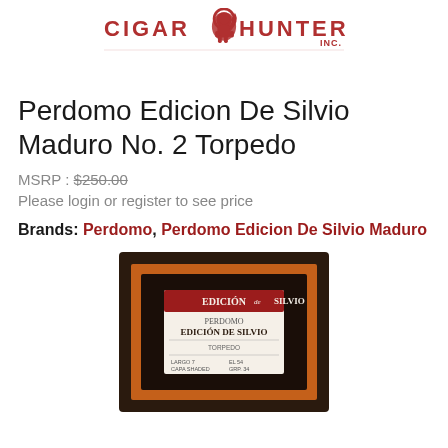[Figure (logo): Cigar Hunter Inc. logo with red text and a red heraldic lion crest in the center]
Perdomo Edicion De Silvio Maduro No. 2 Torpedo
MSRP : $250.00
Please login or register to see price
Brands: Perdomo, Perdomo Edicion De Silvio Maduro
[Figure (photo): Product photo of a framed cigar box display with dark wood frame and orange inner mat, showing the Edicion de Silvio label inside]